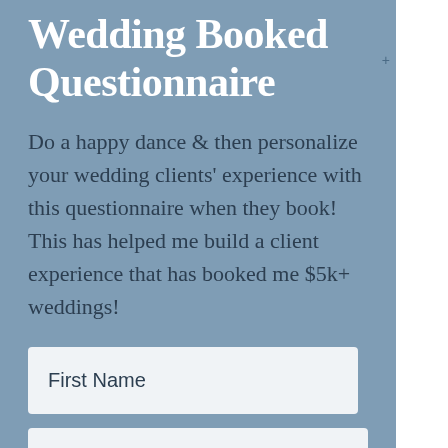Wedding Booked Questionnaire
Do a happy dance & then personalize your wedding clients' experience with this questionnaire when they book! This has helped me build a client experience that has booked me $5k+ weddings!
First Name
Your email address